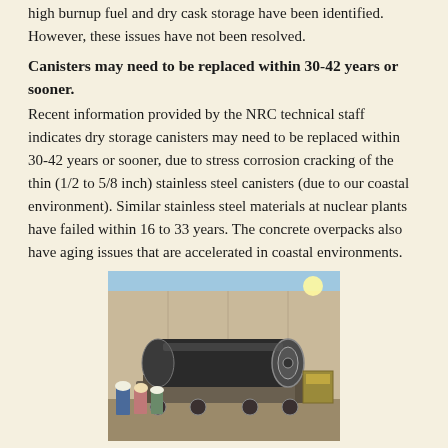high burnup fuel and dry cask storage have been identified. However, these issues have not been resolved.
Canisters may need to be replaced within 30-42 years or sooner.
Recent information provided by the NRC technical staff indicates dry storage canisters may need to be replaced within 30-42 years or sooner, due to stress corrosion cracking of the thin (1/2 to 5/8 inch) stainless steel canisters (due to our coastal environment). Similar stainless steel materials at nuclear plants have failed within 16 to 33 years.  The concrete overpacks also have aging issues that are accelerated in coastal environments.
[Figure (photo): Workers loading or positioning a large dry storage nuclear canister/cask at a facility with concrete walls. The dark cylindrical canister is horizontal on transport equipment.]
Southern California Edison has budgeted $400 million dollars for the dry storage system. As Commissioner Florio stated after the recent CPUC meeting in Costa Mesa, “We don’t want to have to